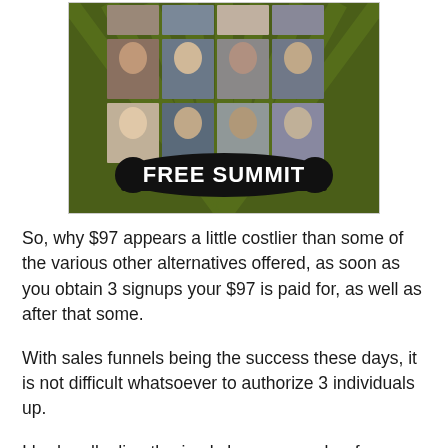[Figure (photo): A promotional image for a Free Summit with a dark olive green background, sunburst rays, a 3x3 grid of portrait photos of various people, and a black banner reading 'FREE SUMMIT' in bold white text.]
So, why $97 appears a little costlier than some of the various other alternatives offered, as soon as you obtain 3 signups your $97 is paid for, as well as after that some.
With sales funnels being the success these days, it is not difficult whatsoever to authorize 3 individuals up.
I had really directly simply been a member for a